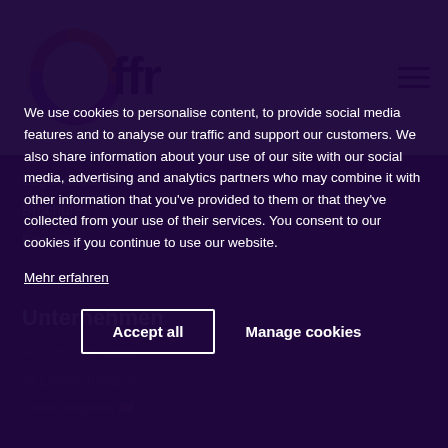[Figure (logo): Offr logo with circular pink/purple/orange ring and bold dark text 'offr']
Legal documents
Brochures
Enquiries
Unternehmen
We use cookies to personalise content, to provide social media features and to analyse our traffic and support our customers. We also share information about your use of our site with our social media, advertising and analytics partners who may combine it with other information that you've provided to them or that they've collected from your use of their services. You consent to our cookies if you continue to use our website.
Mehr erfahren
Accept all
Manage cookies